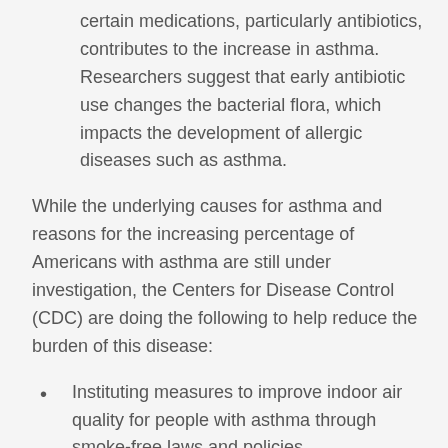certain medications, particularly antibiotics, contributes to the increase in asthma. Researchers suggest that early antibiotic use changes the bacterial flora, which impacts the development of allergic diseases such as asthma.
While the underlying causes for asthma and reasons for the increasing percentage of Americans with asthma are still under investigation, the Centers for Disease Control (CDC) are doing the following to help reduce the burden of this disease:
Instituting measures to improve indoor air quality for people with asthma through smoke-free laws and policies.
Teaching patients how to avoid asthma triggers, such as tobacco smoke, mold, pet dander, and outdoor air pollution.